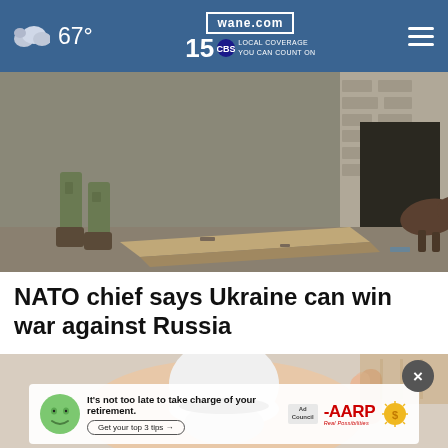67° | wane.com | 15 LOCAL COVERAGE YOU CAN COUNT ON
[Figure (photo): Military scene with a soldier in camouflage walking and a German shepherd dog near a damaged building entrance]
NATO chief says Ukraine can win war against Russia
[Figure (photo): A hand holding a white security camera, partially visible]
[Figure (other): AARP advertisement: It's not too late to take charge of your retirement. Get your top 3 tips. Ad Council + AARP Real Possibilities logo.]